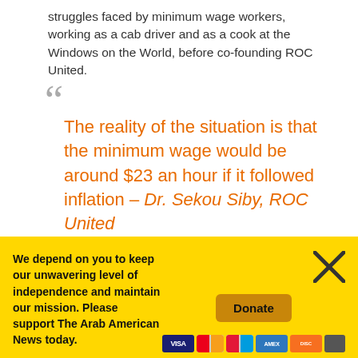struggles faced by minimum wage workers, working as a cab driver and as a cook at the Windows on the World, before co-founding ROC United.
“ The reality of the situation is that the minimum wage would be around $23 an hour if it followed inflation – Dr. Sekou Siby, ROC United ”
We depend on you to keep our unwavering level of independence and maintain our mission. Please support The Arab American News today.